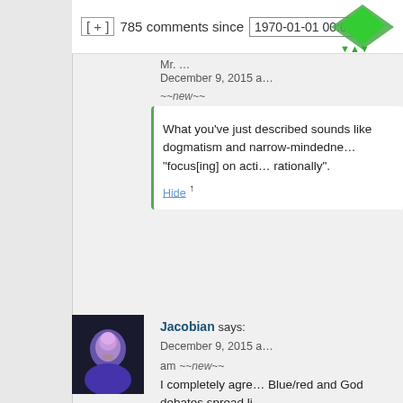[ + ]   785 comments since   1970-01-01 00:0
December 9, 2015 ~new~
What you've just described sounds like dogmatism and narrow-mindedness, "focus[ing] on acting rationally".
Hide ↑
Jacobian says:
December 9, 2015 am ~new~
I completely agree. Blue/red and God debates spread li